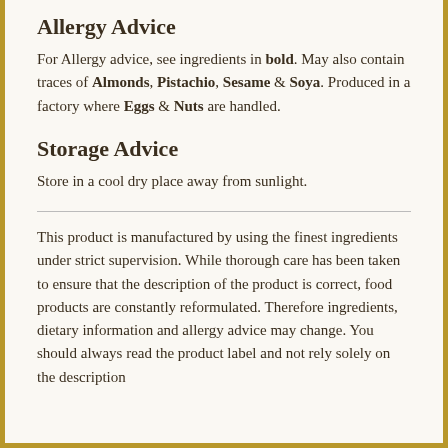Allergy Advice
For Allergy advice, see ingredients in bold. May also contain traces of Almonds, Pistachio, Sesame & Soya. Produced in a factory where Eggs & Nuts are handled.
Storage Advice
Store in a cool dry place away from sunlight.
This product is manufactured by using the finest ingredients under strict supervision. While thorough care has been taken to ensure that the description of the product is correct, food products are constantly reformulated. Therefore ingredients, dietary information and allergy advice may change. You should always read the product label and not rely solely on the description